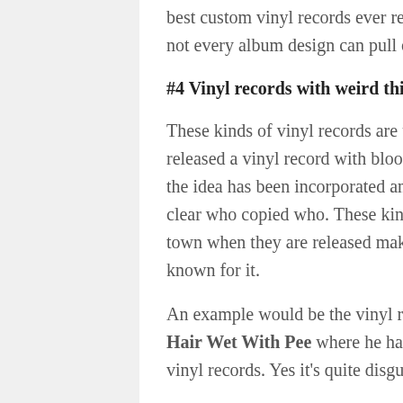best custom vinyl records ever released. Such designs are very creative in itself since not every album design can pull off, catch people's attention, and pique their interest.
#4 Vinyl records with weird things in it
These kinds of vinyl records are truly rare and kinda crazy (there's a band who released a vinyl record with blood!). They're quite rare and hard to copy because once the idea has been incorporated and the records have been released, it would be quite clear who copied who. These kinds of vinyl records are sure to become the talk of the town when they are released making the first ever to release something like this known for it.
An example would be the vinyl record released by Eohippus entitled Getting Your Hair Wet With Pee where he had his hair and pee put in his limited 100 copies of vinyl records. Yes it's quite disgusting